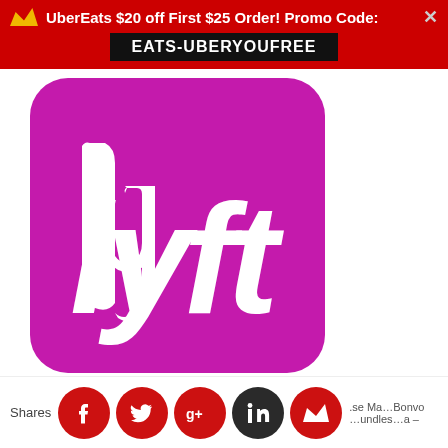UberEats $20 off First $25 Order! Promo Code: EATS-UBERYOUFREE
[Figure (logo): Lyft logo: white 'lyft' wordmark with a stylized 't' on a magenta/pink rounded-square background]
Shares
[Figure (infographic): Social sharing icons row: Facebook, Twitter, Google+, LinkedIn, and a crown icon, all red circles, with partial truncated text below reading '.se Ma...Bonvo...undles...a –']